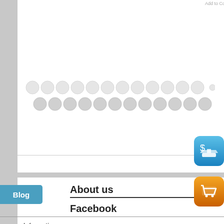Add to Compare
[Figure (other): Two rows of grey circles (pagination or product dots)]
[Figure (other): Blue app icon with dollar sign and ship image]
Blog
About us
[Figure (other): Orange app icon with shopping cart]
Facebook
Information
About Us
Shipping Method
Payment Method
Privacy Policy
Terms & Conditions